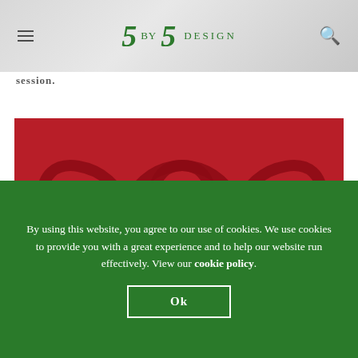5 BY 5 DESIGN
session.
[Figure (photo): Paper cut heart shape on red background — two overlapping heart silhouettes made from curled red paper strips against a red background.]
By using this website, you agree to our use of cookies. We use cookies to provide you with a great experience and to help our website run effectively. View our cookie policy.
Ok